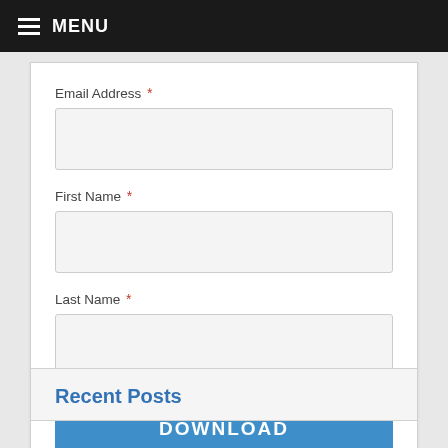MENU
Email Address *
First Name *
Last Name *
DOWNLOAD
Recent Posts